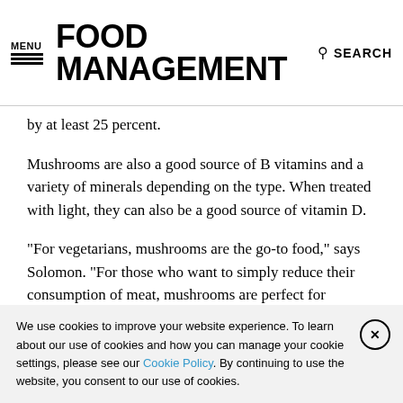MENU | FOOD MANAGEMENT | SEARCH
by at least 25 percent.
Mushrooms are also a good source of B vitamins and a variety of minerals depending on the type. When treated with light, they can also be a good source of vitamin D.
“For vegetarians, mushrooms are the go-to food,” says Solomon. “For those who want to simply reduce their consumption of meat, mushrooms are perfect for blending with meat because of the umami combination and the fact that mushrooms are a great flavor carrier, which amplifies the
We use cookies to improve your website experience. To learn about our use of cookies and how you can manage your cookie settings, please see our Cookie Policy. By continuing to use the website, you consent to our use of cookies.